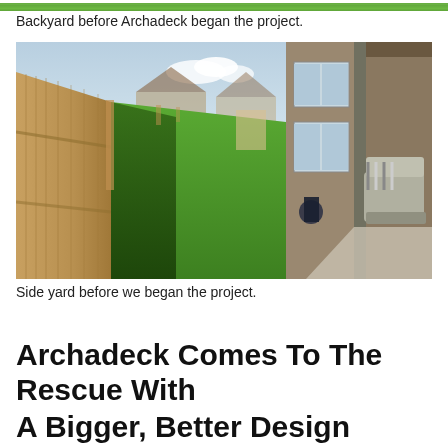[Figure (photo): Top strip of a backyard photo showing green grass, partially cropped at the top of the page.]
Backyard before Archadeck began the project.
[Figure (photo): Side yard before project began: wooden fence on the left, brick house on the right with a covered patio and outdoor furniture, green lawn in the middle.]
Side yard before we began the project.
Archadeck Comes To The Rescue With
A Bigger, Better Design